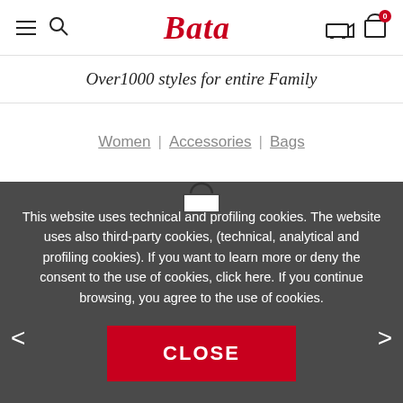[Figure (logo): Bata brand logo in red italic serif font, hamburger menu icon, search icon, delivery truck icon, and shopping bag icon with badge showing 0]
Over1000 styles for entire Family
Women | Accessories | Bags
This website uses technical and profiling cookies. The website uses also third-party cookies, (technical, analytical and profiling cookies). If you want to learn more or deny the consent to the use of cookies, click here. If you continue browsing, you agree to the use of cookies.
CLOSE